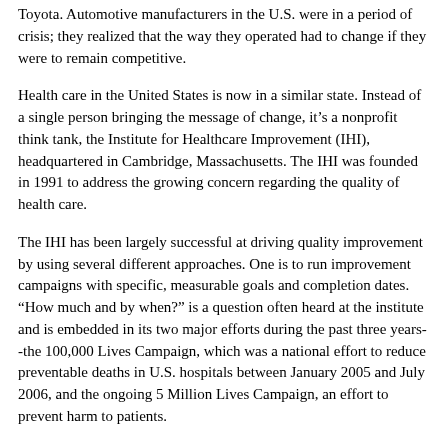Toyota. Automotive manufacturers in the U.S. were in a period of crisis; they realized that the way they operated had to change if they were to remain competitive.
Health care in the United States is now in a similar state. Instead of a single person bringing the message of change, it’s a nonprofit think tank, the Institute for Healthcare Improvement (IHI), headquartered in Cambridge, Massachusetts. The IHI was founded in 1991 to address the growing concern regarding the quality of health care.
The IHI has been largely successful at driving quality improvement by using several different approaches. One is to run improvement campaigns with specific, measurable goals and completion dates. “How much and by when?” is a question often heard at the institute and is embedded in its two major efforts during the past three years--the 100,000 Lives Campaign, which was a national effort to reduce preventable deaths in U.S. hospitals between January 2005 and July 2006, and the ongoing 5 Million Lives Campaign, an effort to prevent harm to patients.
All of IHI’s work is grounded in a very practical approach to quality improvement. Initially developed by the Associates in Process Improvement (API), the IHI model for improvement focuses on three questions fundamental to all improvement activities and the plan-do-study-act (PDSA) cycle: